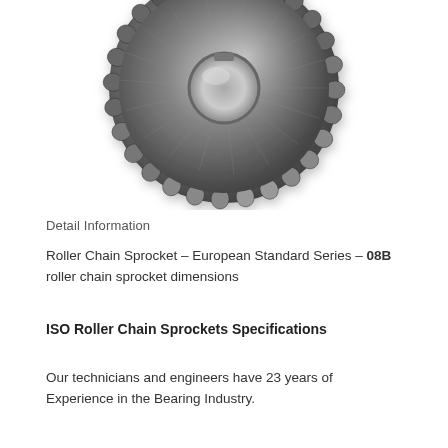[Figure (photo): Close-up photo of a steel roller chain sprocket with teeth around its circumference and a circular bore hole in the center, viewed from front/slightly above angle. Metal has a dark grey machined finish.]
Detail Information
Roller Chain Sprocket – European Standard Series – 08B roller chain sprocket dimensions
ISO Roller Chain Sprockets Specifications
Our technicians and engineers have 23 years of Experience in the Bearing Industry.